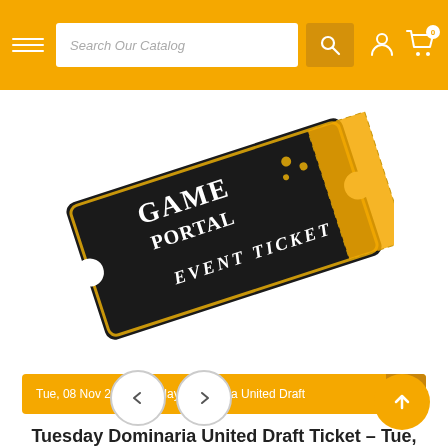Search Our Catalog
[Figure (photo): Game Portal Event Ticket – a black ticket with gold border and white serif text reading GAME PORTAL EVENT TICKET, shown at an angle on a white background]
Tue, 08 Nov 2022 Tuesday Dominaria United Draft
Tuesday Dominaria United Draft Ticket – Tue, 08 Nov 2022
$28.00